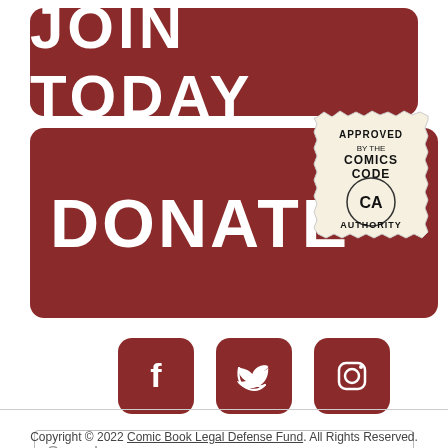[Figure (illustration): Red rounded rectangle button with white bold text reading JOIN TODAY]
[Figure (illustration): Red rounded rectangle button with white bold text reading DONATE, with a Comics Code Authority stamp badge overlapping the top-right corner]
[Figure (illustration): Three red rounded square social media icon buttons: Facebook (f), Twitter (bird), Instagram (camera)]
Search …
Copyright © 2022 Comic Book Legal Defense Fund. All Rights Reserved.